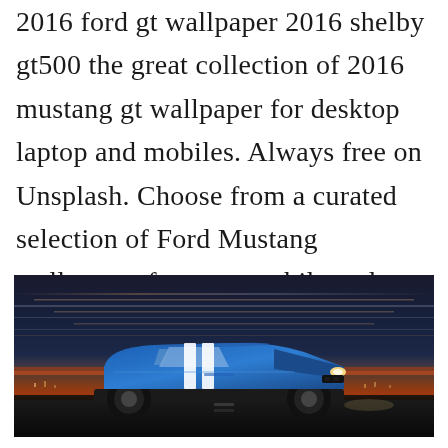2016 ford gt wallpaper 2016 shelby gt500 the great collection of 2016 mustang gt wallpaper for desktop laptop and mobiles. Always free on Unsplash. Choose from a curated selection of Ford Mustang wallpapers for your mobile and desktop screens.
[Figure (photo): A blue Ford Mustang Shelby GT500 with white racing stripes photographed at night or dusk on a road, with a dramatic sunset sky in the background featuring orange and purple hues.]